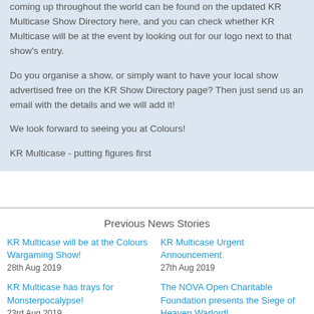coming up throughout the world can be found on the updated KR Multicase Show Directory here, and you can check whether KR Multicase will be at the event by looking out for our logo next to that show's entry.
Do you organise a show, or simply want to have your local show advertised free on the KR Show Directory page? Then just send us an email with the details and we will add it!
We look forward to seeing you at Colours!
KR Multicase - putting figures first
Previous News Stories
KR Multicase will be at the Colours Wargaming Show!
28th Aug 2019
KR Multicase Urgent Announcement
27th Aug 2019
KR Multicase has trays for Monsterpocalypse!
23rd Aug 2019
The NOVA Open Charitable Foundation presents the Siege of Heaven Warlord!
22nd Aug 2019